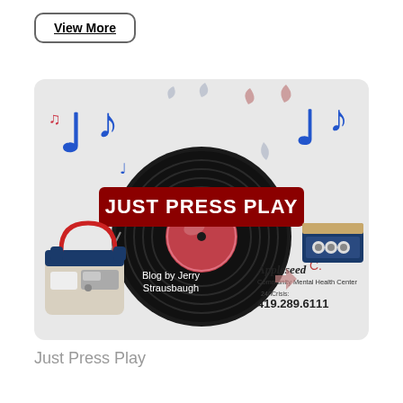View More
[Figure (illustration): Promotional blog banner reading 'JUST PRESS PLAY' with music notes, vinyl record, cassette tape, radio with headphones, and Appleseed Community Mental Health Center branding. Blog by Jerry Strausbaugh. 24/7 Crisis: 419.289.6111]
Just Press Play